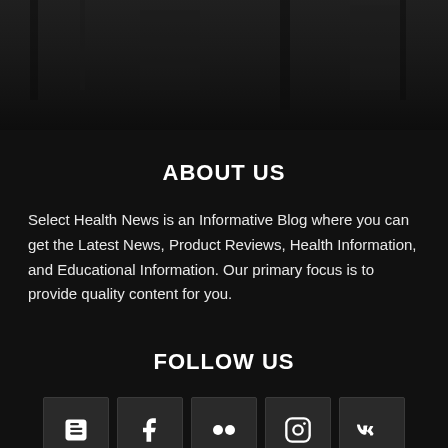[Figure (photo): Dark background image with dim lighting, possibly a cityscape or indoor scene]
ABOUT US
Select Health News is an Informative Blog where you can get the Latest News, Product Reviews, Health Information, and Educational Information. Our primary focus is to provide quality content for you.
FOLLOW US
[Figure (infographic): Row of 5 social media icon buttons: Blogger, Facebook, Flickr, Instagram, VK]